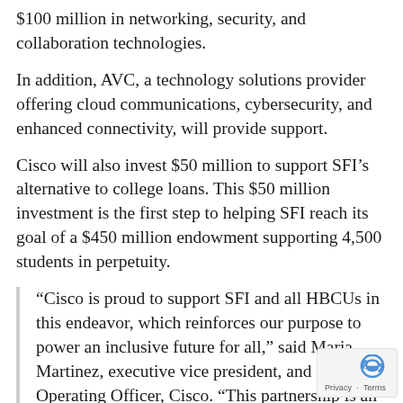$100 million in networking, security, and collaboration technologies.
In addition, AVC, a technology solutions provider offering cloud communications, cybersecurity, and enhanced connectivity, will provide support.
Cisco will also invest $50 million to support SFI’s alternative to college loans. This $50 million investment is the first step to helping SFI reach its goal of a $450 million endowment supporting 4,500 students in perpetuity.
“Cisco is proud to support SFI and all HBCUs in this endeavor, which reinforces our purpose to power an inclusive future for all,” said Maria Martinez, executive vice president, and Chief Operating Officer, Cisco. “This partnership is an investment in our workforce, empowering AA (African American)/Black STEM students and equipping them with the financial and technology